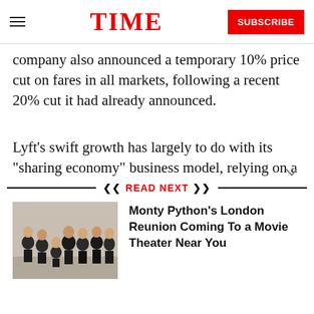TIME  SUBSCRIBE
company also announced a temporary 10% price cut on fares in all markets, following a recent 20% cut it had already announced.
Lyft’s swift growth has largely to do with its “sharing economy” business model, relying on a
READ NEXT
[Figure (photo): Group photo of Monty Python members in formal attire]
Monty Python's London Reunion Coming To a Movie Theater Near You